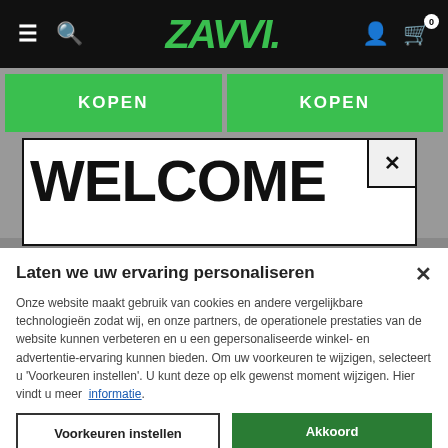ZAVVI — navigation bar with hamburger menu, search, logo, user icon, cart icon (0)
[Figure (screenshot): Two green 'KOPEN' buttons side by side on a grey background]
WELCOME
Laten we uw ervaring personaliseren
Onze website maakt gebruik van cookies en andere vergelijkbare technologieën zodat wij, en onze partners, de operationele prestaties van de website kunnen verbeteren en u een gepersonaliseerde winkel- en advertentie-ervaring kunnen bieden. Om uw voorkeuren te wijzigen, selecteert u 'Voorkeuren instellen'. U kunt deze op elk gewenst moment wijzigen. Hier vindt u meer informatie.
Voorkeuren instellen
Akkoord